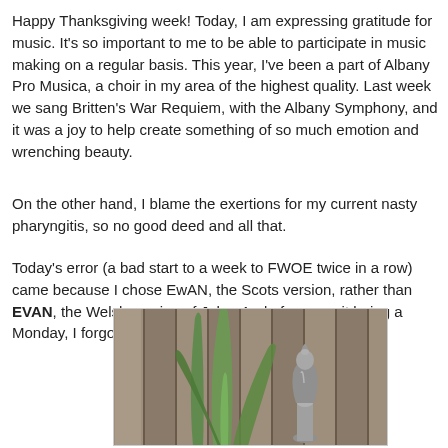Happy Thanksgiving week! Today, I am expressing gratitude for music. It's so important to me to be able to participate in music making on a regular basis. This year, I've been a part of Albany Pro Musica, a choir in my area of the highest quality. Last week we sang Britten's War Requiem, with the Albany Symphony, and it was a joy to help create something of so much emotion and wrenching beauty.
On the other hand, I blame the exertions for my current nasty pharyngitis, so no good deed and all that.
Today's error (a bad start to a week to FWOE twice in a row) came because I chose EwAN, the Scots version, rather than EVAN, the Welsh version of John. And of course, it being a Monday, I forgot to look at the crosses.
[Figure (photo): Photo of aloe vera plant leaves and a decorative metal finial against wooden fence slats in brown/grey tones]